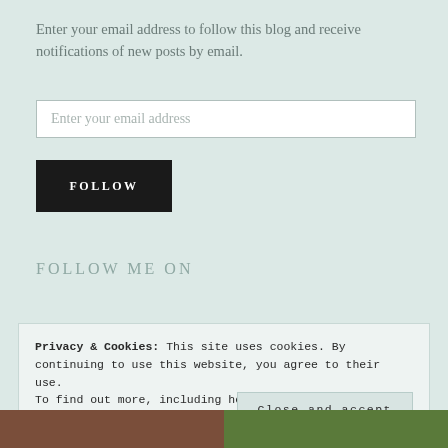Enter your email address to follow this blog and receive notifications of new posts by email.
Enter your email address
FOLLOW
FOLLOW ME ON
Privacy & Cookies: This site uses cookies. By continuing to use this website, you agree to their use.
To find out more, including how to control cookies, see here: Cookie Policy
Close and accept